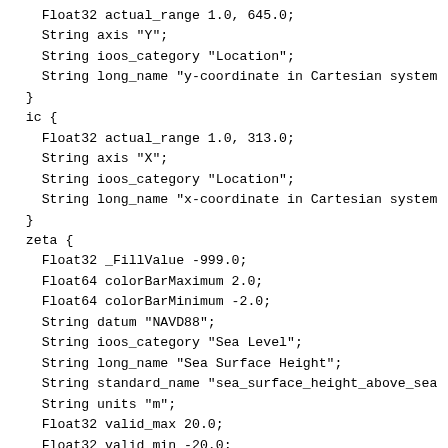Float32 actual_range 1.0, 645.0;
    String axis "Y";
    String ioos_category "Location";
    String long_name "y-coordinate in Cartesian system
  }
  ic {
    Float32 actual_range 1.0, 313.0;
    String axis "X";
    String ioos_category "Location";
    String long_name "x-coordinate in Cartesian system
  }
  zeta {
    Float32 _FillValue -999.0;
    Float64 colorBarMaximum 2.0;
    Float64 colorBarMinimum -2.0;
    String datum "NAVD88";
    String ioos_category "Sea Level";
    String long_name "Sea Surface Height";
    String standard_name "sea_surface_height_above_sea
    String units "m";
    Float32 valid_max 20.0;
    Float32 valid_min -20.0;
  }
  NC_GLOBAL {
    String _CoordSysBuilder "ucar.nc2.dataset.conv.CF1
    String cdm_data_type "Grid"